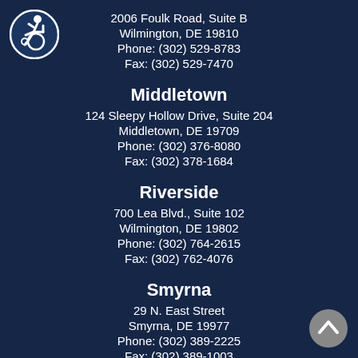[Figure (illustration): Wheelchair accessibility icon — white figure in wheelchair on dark blue circle]
2006 Foulk Road, Suite B
Wilmington, DE 19810
Phone: (302) 529-8783
Fax: (302) 529-7470
Middletown
124 Sleepy Hollow Drive, Suite 204
Middletown, DE 19709
Phone: (302) 376-8080
Fax: (302) 378-1684
Riverside
700 Lea Blvd., Suite 102
Wilmington, DE 19802
Phone: (302) 764-2615
Fax: (302) 762-4076
Smyrna
29 N. East Street
Smyrna, DE 19977
Phone: (302) 389-2225
Fax: (302) 389-1003
Omega
[Figure (illustration): Scroll-up/back-to-top button — grey circle with white upward chevron arrow]